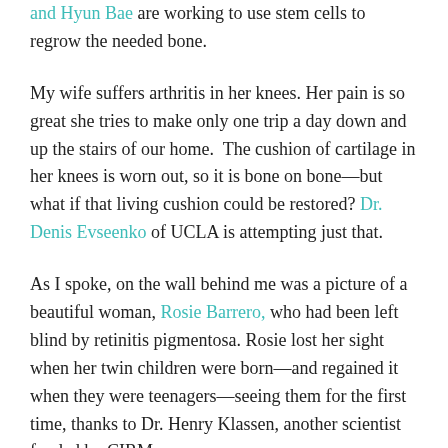and Hyun Bae are working to use stem cells to regrow the needed bone.
My wife suffers arthritis in her knees. Her pain is so great she tries to make only one trip a day down and up the stairs of our home. The cushion of cartilage in her knees is worn out, so it is bone on bone—but what if that living cushion could be restored? Dr. Denis Evseenko of UCLA is attempting just that.
As I spoke, on the wall behind me was a picture of a beautiful woman, Rosie Barrero, who had been left blind by retinitis pigmentosa. Rosie lost her sight when her twin children were born—and regained it when they were teenagers—seeing them for the first time, thanks to Dr. Henry Klassen, another scientist funded by CIRM.